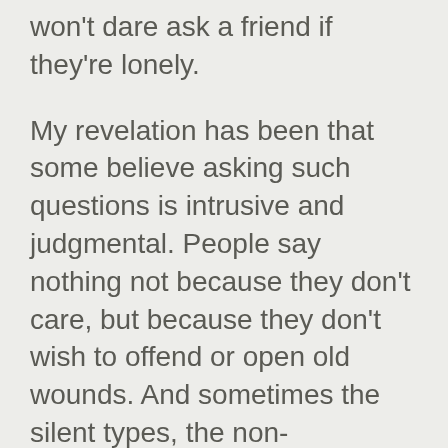won't dare ask a friend if they're lonely.
My revelation has been that some believe asking such questions is intrusive and judgmental. People say nothing not because they don't care, but because they don't wish to offend or open old wounds. And sometimes the silent types, the non-questioners believe I'm being needlessly nosey or rude.
But I believe we've misjudged each other. You're trying to